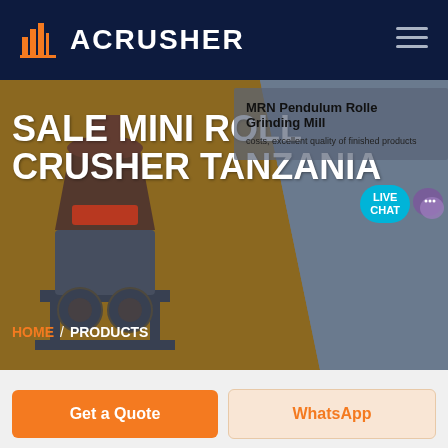ACRUSHER
SALE MINI ROLL CRUSHER TANZANIA
[Figure (screenshot): Website screenshot showing ACrusher brand page with a roll crusher machine image on a golden-brown and gray hero background. Navigation header in dark navy blue with orange building logo and ACRUSHER text. Live chat bubble in teal. Breadcrumb navigation showing HOME / PRODUCTS. Two CTA buttons at bottom: Get a Quote (orange) and WhatsApp (light).]
MRN Pendulum Roller Grinding Mill
costs, excellent quality of finished products
HOME / PRODUCTS
Get a Quote
WhatsApp